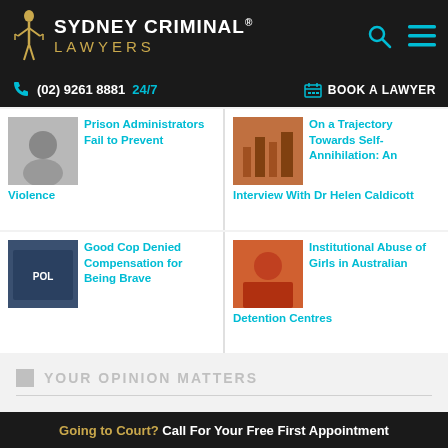[Figure (logo): Sydney Criminal Lawyers logo with gold figure and teal text on dark background]
(02) 9261 8881 24/7   BOOK A LAWYER
[Figure (photo): Handcuffs image thumbnail]
Prison Administrators Fail to Prevent Violence
[Figure (photo): City skyline thumbnail]
On a Trajectory Towards Self-Annihilation: An Interview With Dr Helen Caldicott
[Figure (photo): Police sign thumbnail]
Good Cop Denied Compensation for Being Brave
[Figure (photo): Girl in detention thumbnail]
Institutional Abuse of Girls in Australian Detention Centres
YOUR OPINION MATTERS
Going to Court? Call For Your Free First Appointment